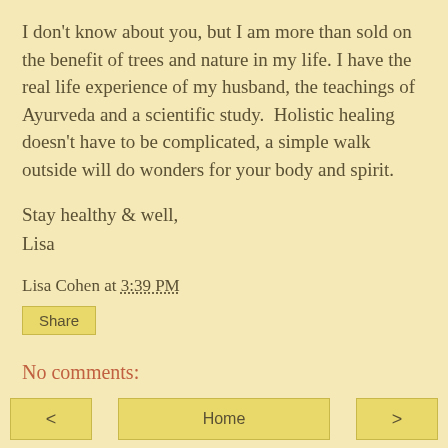I don't know about you, but I am more than sold on the benefit of trees and nature in my life. I have the real life experience of my husband, the teachings of Ayurveda and a scientific study.  Holistic healing doesn't have to be complicated, a simple walk outside will do wonders for your body and spirit.
Stay healthy & well,
Lisa
Lisa Cohen at 3:39 PM
Share
No comments:
Post a Comment
< | Home | >